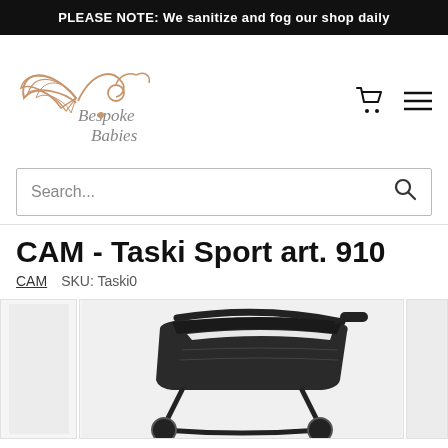PLEASE NOTE: We sanitize and fog our shop daily
[Figure (logo): Bespoke Babies logo with stork/wing illustration and rose-gold text]
Search...
CAM - Taski Sport art. 910
CAM   SKU: Taski0
[Figure (photo): Dark grey/black CAM Taski Sport stroller pram shown from the side, partial view cropped at bottom]